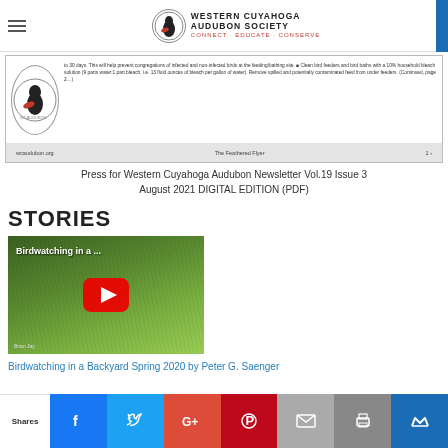Western Cuyahoga Audubon Society — Connect · Educate · Conserve
[Figure (screenshot): Newsletter preview showing a circular bird logo and text about bird feeder cleaning instructions, with a footer bar showing 'wcaudubon.org', 'The Feathered Flyer', and page number 1]
Press for Western Cuyahoga Audubon Newsletter Vol.19 Issue 3 August 2021 DIGITAL EDITION (PDF)
STORIES
[Figure (screenshot): YouTube video thumbnail for 'Birdwatching in a ...' showing a close-up of a bird feeder with a red YouTube play button overlay]
Birdwatching in a Backyard Spring 2020 by Peter G. Saenger
Shares | Facebook | Twitter | Google+ | Pinterest | Email | Print | Crown